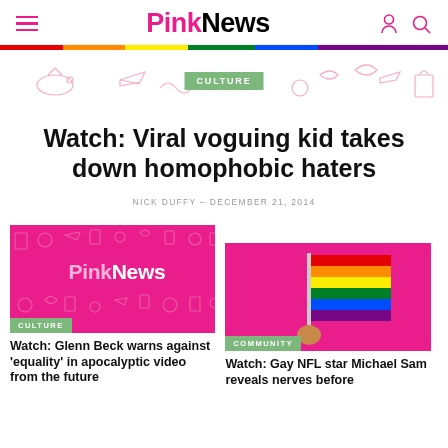PinkNews
[Figure (illustration): Rainbow horizontal color bar strip]
[Figure (illustration): Decorative pink doodle banner with CULTURE tag in center]
Watch: Viral voguing kid takes down homophobic haters
NICK DUFFY - DECEMBER 21, 2014
[Figure (illustration): PinkNews logo on pink background with doodles, CULTURE tag bottom left]
Watch: Glenn Beck warns against 'equality' in apocalyptic video from the future
[Figure (illustration): Hand holding rainbow pride flag on pink background, COMMUNITY tag bottom left]
Watch: Gay NFL star Michael Sam reveals nerves before